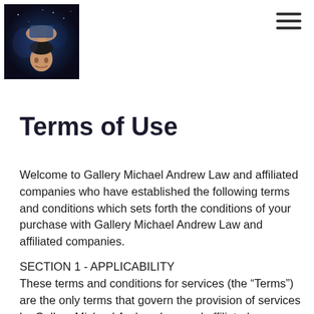[Figure (photo): Profile photo of a person (upside down) with a blue/space-themed background, used as a logo in the top-left corner of the page.]
Terms of Use
Welcome to Gallery Michael Andrew Law and affiliated companies who have established the following terms and conditions which sets forth the conditions of your purchase with Gallery Michael Andrew Law and affiliated companies.
SECTION 1 - APPLICABILITY
These terms and conditions for services (the “Terms”) are the only terms that govern the provision of services by Gallery Michael Andrew Law and affiliated companies, (the “Service Provider”) to You (the “Customer”)